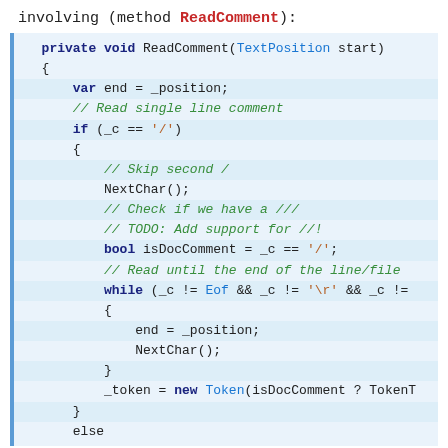involving (method ReadComment):
[Figure (screenshot): Code block showing C# method ReadComment with syntax highlighting: keywords in dark blue bold, comments in green italic, string literals in orange-brown, type names in blue, method names in blue.]